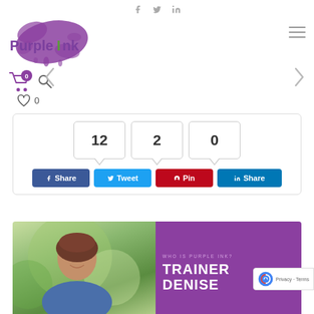Social icons: Facebook, Twitter, LinkedIn
[Figure (logo): Purple Ink logo with purple ink splatter and text 'Purple Ink' where 'Ink' dot is green]
[Figure (infographic): Hamburger menu icon (three horizontal lines)]
[Figure (infographic): Shopping cart with badge showing 0, and search magnifier icon]
[Figure (infographic): Left chevron navigation arrow]
[Figure (infographic): Right chevron navigation arrow]
0
[Figure (infographic): Social share box with counts 12, 2, 0 and buttons: Share (Facebook), Tweet, Pin, Share (LinkedIn)]
[Figure (photo): Bottom section showing a smiling woman with brown hair on a blurred green background, next to a purple panel with text 'WHO IS PURPLE INK? TRAINER DENISE']